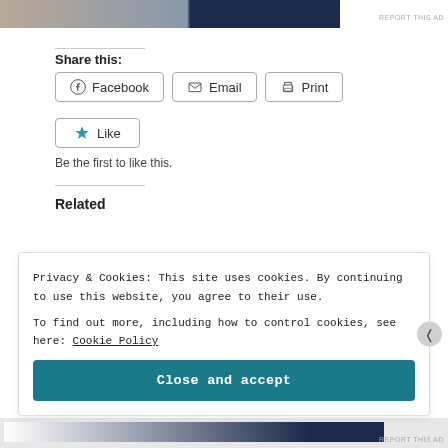[Figure (photo): Partial advertisement banner image showing a person and dark blue background, with 'REPORT THIS AD' text]
Share this:
Facebook  Email  Print  (share buttons)
Like  Be the first to like this.
Related
Privacy & Cookies: This site uses cookies. By continuing to use this website, you agree to their use. To find out more, including how to control cookies, see here: Cookie Policy
Close and accept